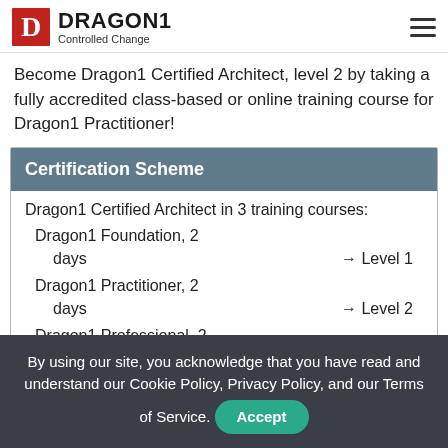DRAGON1 Controlled Change
Become Dragon1 Certified Architect, level 2 by taking a fully accredited class-based or online training course for Dragon1 Practitioner!
| Certification Scheme |
| --- |
| Dragon1 Certified Architect in 3 training courses: |
| Dragon1 Foundation, 2 |
| days → Level 1 |
| Dragon1 Practitioner, 2 |
| days → Level 2 |
| Dragon1 Professional, 2 |
By using our site, you acknowledge that you have read and understand our Cookie Policy, Privacy Policy, and our Terms of Service.